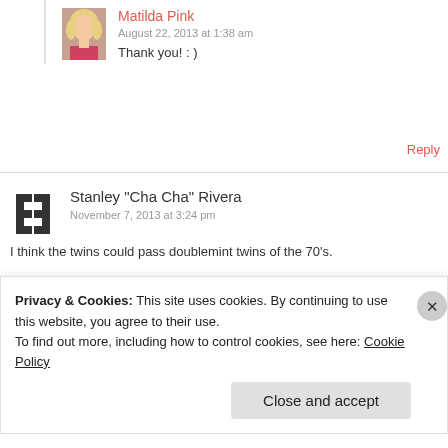Matilda Pink
August 22, 2013 at 1:38 am
Thank you! : )
Reply
Stanley "Cha Cha" Rivera
November 7, 2013 at 3:24 pm
I think the twins could pass doublemint twins of the 70's.
Privacy & Cookies: This site uses cookies. By continuing to use this website, you agree to their use.
To find out more, including how to control cookies, see here: Cookie Policy
Close and accept